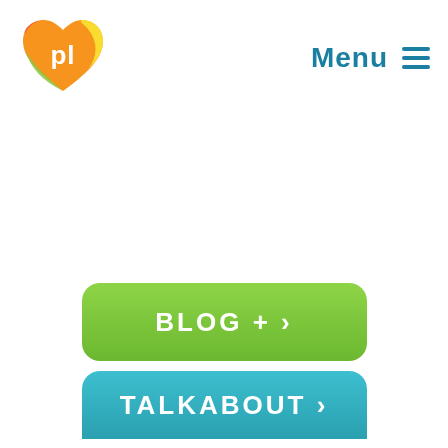[Figure (logo): Colorful heart-shaped logo with 'pl' text in white, orange, yellow and green colors]
Menu ≡
[Figure (other): Green rounded button with text 'BLOG + ›']
[Figure (other): Teal/cyan rounded button with text 'TALKABOUT ›']